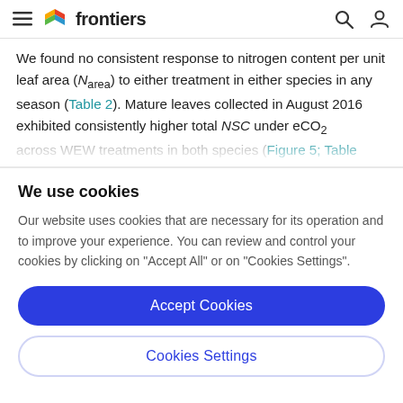frontiers
We found no consistent response to nitrogen content per unit leaf area (N_area) to either treatment in either species in any season (Table 2). Mature leaves collected in August 2016 exhibited consistently higher total NSC under eCO2 across WEW treatments in both species (Figure 5; Table...
We use cookies
Our website uses cookies that are necessary for its operation and to improve your experience. You can review and control your cookies by clicking on "Accept All" or on "Cookies Settings".
Accept Cookies
Cookies Settings